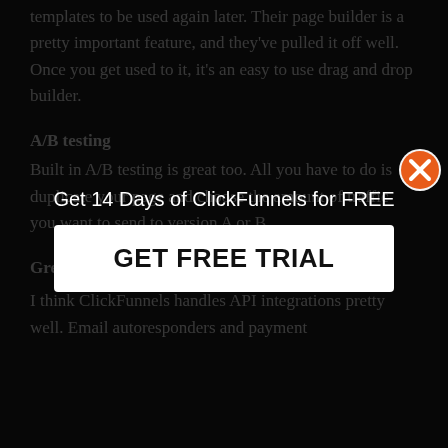templates to be used again later. Their page builder is a pretty important feature, and they've pulled it off well. Once you get used to it, it's an easy to use drag and drop builder.
A/B testing
Built in A/B testing is great too. All you have to do is duplicate your page and choose the amount of traffic you want to send to version A or B.
Great selection of Integrations
I think ClickFunnels handles API integrations pretty well. Email autoresponders and payment
[Figure (other): Modal popup overlay with orange X close button, text 'Get 14 Days of ClickFunnels for FREE', and a white button labeled 'GET FREE TRIAL']